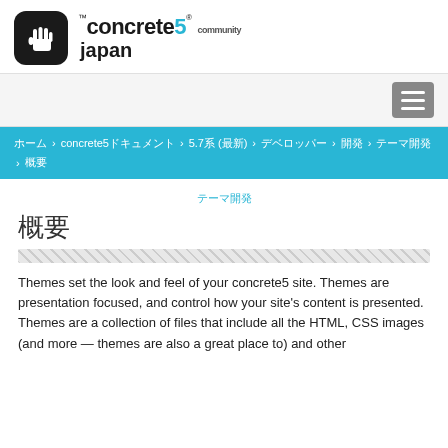[Figure (logo): concrete5 japan community logo with hand icon in black rounded square]
Navigation bar with hamburger menu icon
ホーム > concrete5ドキュメント > 5.7系 (最新) > デベロッパー > 開発 > テーマ開発 > 概要
テーマ開発
概要
Themes set the look and feel of your concrete5 site. Themes are presentation focused, and control how your site's content is presented. Themes are a collection of files that include all the HTML, CSS images (and more — themes are also a great place to) and other